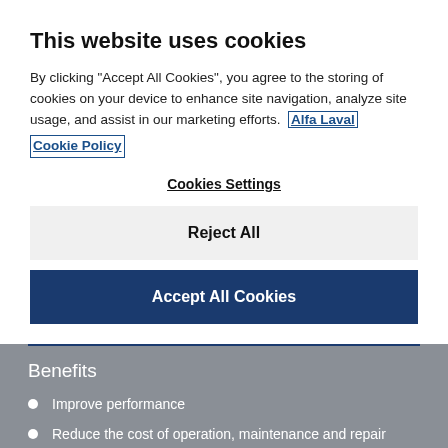This website uses cookies
By clicking "Accept All Cookies", you agree to the storing of cookies on your device to enhance site navigation, analyze site usage, and assist in our marketing efforts. Alfa Laval Cookie Policy
Cookies Settings
Reject All
Accept All Cookies
Benefits
Improve performance
Reduce the cost of operation, maintenance and repair